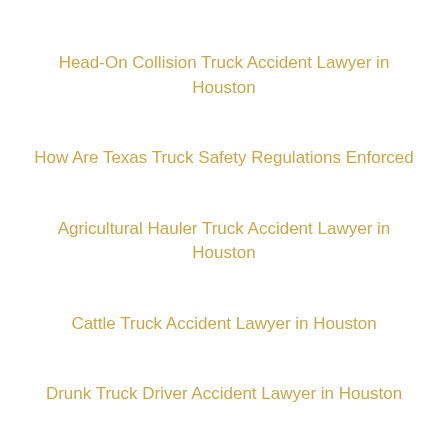Head-On Collision Truck Accident Lawyer in Houston
How Are Texas Truck Safety Regulations Enforced
Agricultural Hauler Truck Accident Lawyer in Houston
Cattle Truck Accident Lawyer in Houston
Drunk Truck Driver Accident Lawyer in Houston